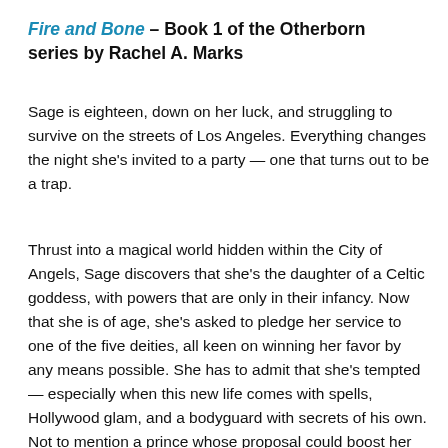Fire and Bone – Book 1 of the Otherborn series by Rachel A. Marks
Sage is eighteen, down on her luck, and struggling to survive on the streets of Los Angeles. Everything changes the night she's invited to a party — one that turns out to be a trap.
Thrust into a magical world hidden within the City of Angels, Sage discovers that she's the daughter of a Celtic goddess, with powers that are only in their infancy. Now that she is of age, she's asked to pledge her service to one of the five deities, all keen on winning her favor by any means possible. She has to admit that she's tempted — especially when this new life comes with spells, Hollywood glam, and a bodyguard with secrets of his own. Not to mention a prince whose proposal could boost her rank in